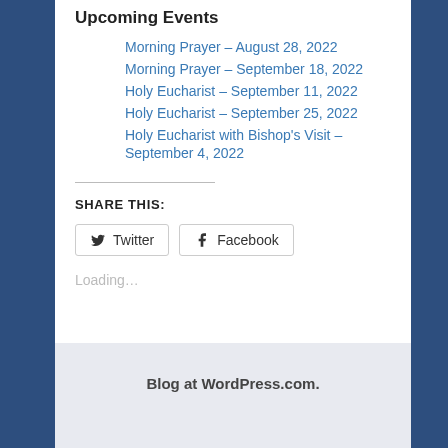Morning Prayer – August 28, 2022
Morning Prayer – September 18, 2022
Holy Eucharist – September 11, 2022
Holy Eucharist – September 25, 2022
Holy Eucharist with Bishop's Visit – September 4, 2022
SHARE THIS:
Loading...
Blog at WordPress.com.